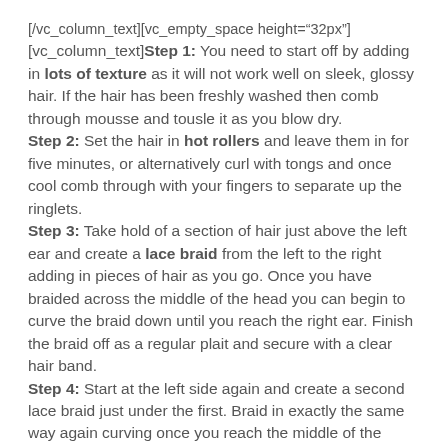[/vc_column_text][vc_empty_space height="32px"][vc_column_text]Step 1: You need to start off by adding in lots of texture as it will not work well on sleek, glossy hair. If the hair has been freshly washed then comb through mousse and tousle it as you blow dry. Step 2: Set the hair in hot rollers and leave them in for five minutes, or alternatively curl with tongs and once cool comb through with your fingers to separate up the ringlets. Step 3: Take hold of a section of hair just above the left ear and create a lace braid from the left to the right adding in pieces of hair as you go. Once you have braided across the middle of the head you can begin to curve the braid down until you reach the right ear. Finish the braid off as a regular plait and secure with a clear hair band. Step 4: Start at the left side again and create a second lace braid just under the first. Braid in exactly the same way again curving once you reach the middle of the